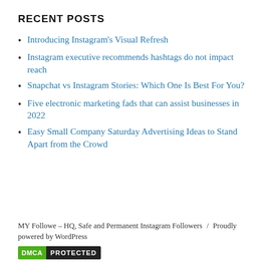RECENT POSTS
Introducing Instagram's Visual Refresh
Instagram executive recommends hashtags do not impact reach
Snapchat vs Instagram Stories: Which One Is Best For You?
Five electronic marketing fads that can assist businesses in 2022
Easy Small Company Saturday Advertising Ideas to Stand Apart from the Crowd
MY Followe – HQ, Safe and Permanent Instagram Followers / Proudly powered by WordPress
[Figure (logo): DMCA PROTECTED badge with green DMCA label and black PROTECTED label]